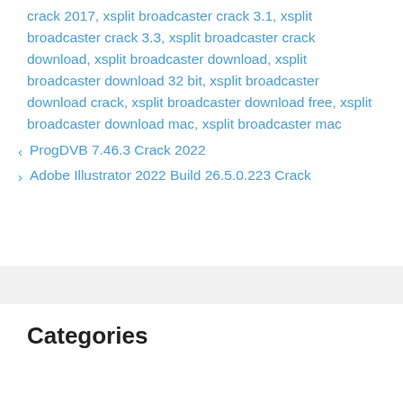crack 2017, xsplit broadcaster crack 3.1, xsplit broadcaster crack 3.3, xsplit broadcaster crack download, xsplit broadcaster download, xsplit broadcaster download 32 bit, xsplit broadcaster download crack, xsplit broadcaster download free, xsplit broadcaster download mac, xsplit broadcaster mac
‹  ProgDVB 7.46.3 Crack 2022
›  Adobe Illustrator 2022 Build 26.5.0.223 Crack
Categories